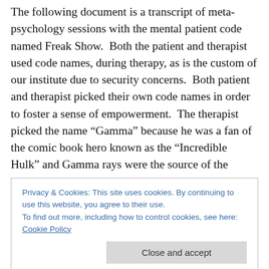The following document is a transcript of meta-psychology sessions with the mental patient code named Freak Show.  Both the patient and therapist used code names, during therapy, as is the custom of our institute due to security concerns.  Both patient and therapist picked their own code names in order to foster a sense of empowerment.  The therapist picked the name “Gamma” because he was a fan of the comic book hero known as the “Incredible Hulk” and Gamma rays were the source of the Hulk’s strength.  The patient picked the name Freak Show since he felt he was a freak and a show.  A standard
Privacy & Cookies: This site uses cookies. By continuing to use this website, you agree to their use.
To find out more, including how to control cookies, see here: Cookie Policy
due to my respect and admiration of the Delta Force that